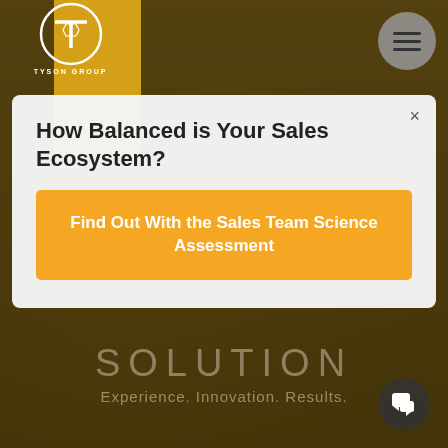[Figure (screenshot): Tyson Group website screenshot showing a modal popup over a dark stadium crowd background. Top-left shows the Tyson Group logo (T in a circle) on a yellow bar. Top-right has a hamburger menu button. A modal dialog asks 'How Balanced is Your Sales Ecosystem?' with a yellow CTA button 'Find Out With the Sales Team Science Assessment'. Background shows 'SOLUTION' text and tagline 'Experience. Innovation. Results.' A chat bubble icon appears bottom-right.]
How Balanced is Your Sales Ecosystem?
Find Out With the Sales Team Science Assessment
SOLUTION
Experience. Innovation. Results.